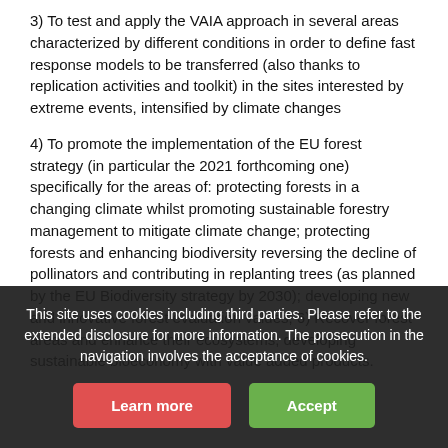3) To test and apply the VAIA approach in several areas characterized by different conditions in order to define fast response models to be transferred (also thanks to replication activities and toolkit) in the sites interested by extreme events, intensified by climate changes
4) To promote the implementation of the EU forest strategy (in particular the 2021 forthcoming one) specifically for the areas of: protecting forests in a changing climate whilst promoting sustainable forestry management to mitigate climate change; protecting forests and enhancing biodiversity reversing the decline of pollinators and contributing in replanting trees (as planned by the EU Biodiversity strategy by 2030); developing new and innovative forest evaluation values...
6) Recover forest areas and enhance their ecosystems, developing sustainable bioeconomy with value added products.
This site uses cookies including third parties. Please refer to the extended disclosure for more information. The prosecution in the navigation involves the acceptance of cookies.